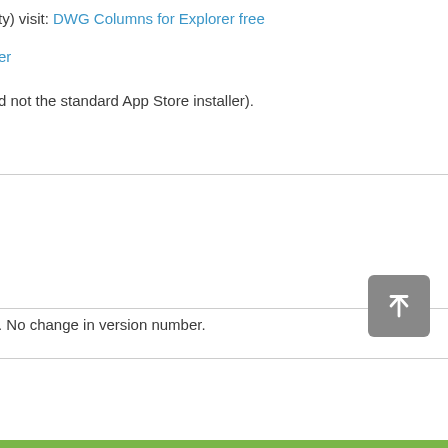ty) visit: DWG Columns for Explorer free
er
d not the standard App Store installer).
. No change in version number.
[Figure (other): Scroll-to-top button: gray rounded square with upward arrow icon]